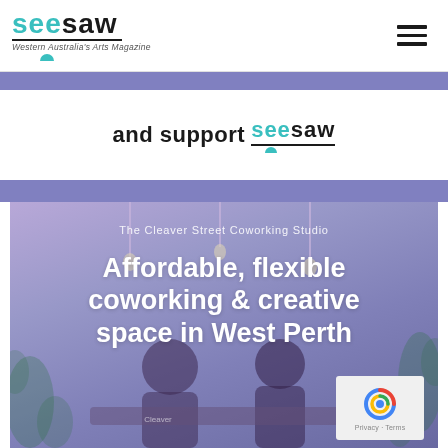seesaw – Western Australia's Arts Magazine
and support seesaw
[Figure (photo): The Cleaver Street Coworking Studio – Affordable, flexible coworking & creative space in West Perth. Photo showing two people sitting at a table in a plant-filled studio, overlaid with purple/blue tint. Text overlaid on image reads: The Cleaver Street Coworking Studio / Affordable, flexible coworking & creative space in West Perth]
Privacy · Terms